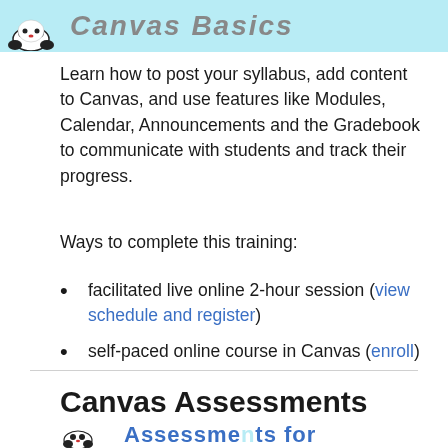[Figure (logo): Canvas Basics header banner with logo (panda-like mascot figures) on light blue background with stylized italic gray title text]
Learn how to post your syllabus, add content to Canvas, and use features like Modules, Calendar, Announcements and the Gradebook to communicate with students and track their progress.
Ways to complete this training:
facilitated live online 2-hour session (view schedule and register)
self-paced online course in Canvas (enroll)
Canvas Assessments